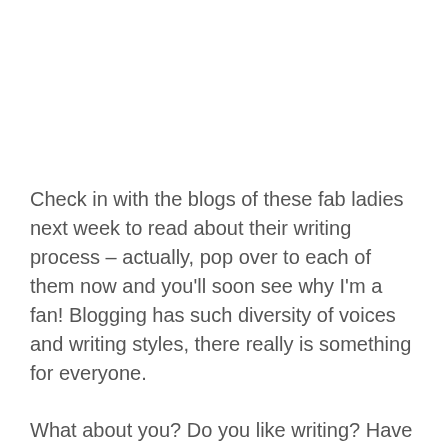Check in with the blogs of these fab ladies next week to read about their writing process – actually, pop over to each of them now and you'll soon see why I'm a fan! Blogging has such diversity of voices and writing styles, there really is something for everyone.
What about you? Do you like writing? Have you got a burgeoning blog up and running, or a half-finished novel or children's book shoved in a desk drawer or saved on a dusty floppy disk? Fossick around and have another crack at those projects.